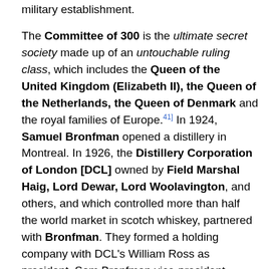military establishment.
The Committee of 300 is the ultimate secret society made up of an untouchable ruling class, which includes the Queen of the United Kingdom (Elizabeth II), the Queen of the Netherlands, the Queen of Denmark and the royal families of Europe.[41] In 1924, Samuel Bronfman opened a distillery in Montreal. In 1926, the Distillery Corporation of London [DCL] owned by Field Marshal Haig, Lord Dewar, Lord Woolavington, and others, and which controlled more than half the world market in scotch whiskey, partnered with Bronfman. They formed a holding company with DCL's William Ross as president, Sam Bronfman vice-president. Bronfman became a 'cutout' for the men behind DCL, and the dispensation of distribution rights was a decision made by His Majesty the King. It began as a three-way contract between Britain (the